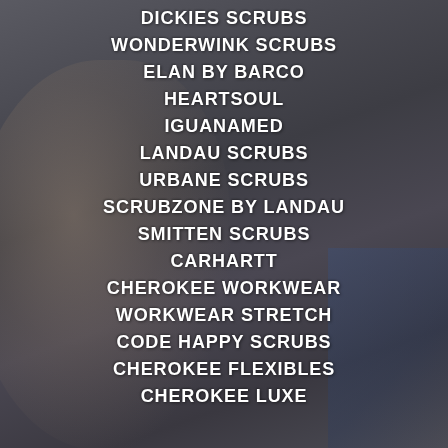DICKIES SCRUBS
WONDERWINK SCRUBS
ELAN BY BARCO
HEARTSOUL
IGUANAMED
LANDAU SCRUBS
URBANE SCRUBS
SCRUBZONE BY LANDAU
SMITTEN SCRUBS
CARHARTT
CHEROKEE WORKWEAR
WORKWEAR STRETCH
CODE HAPPY SCRUBS
CHEROKEE FLEXIBLES
CHEROKEE LUXE